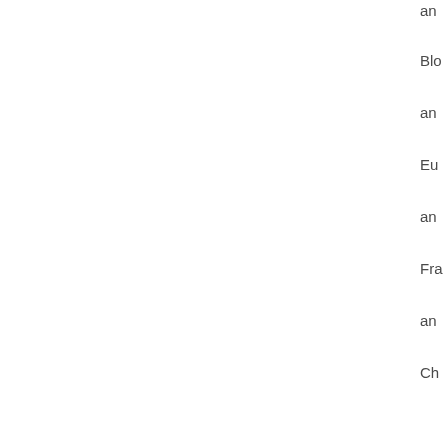an
Blo
an
Eu
an
Fra
an
Ch
Ne
As
an
YL
an
on
an
on
an
on.